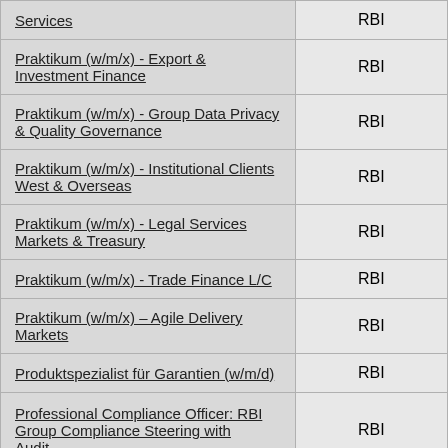| Job Title | Company |
| --- | --- |
| Services | RBI |
| Praktikum (w/m/x) - Export & Investment Finance | RBI |
| Praktikum (w/m/x) - Group Data Privacy & Quality Governance | RBI |
| Praktikum (w/m/x) - Institutional Clients West & Overseas | RBI |
| Praktikum (w/m/x) - Legal Services Markets & Treasury | RBI |
| Praktikum (w/m/x) - Trade Finance L/C | RBI |
| Praktikum (w/m/x) – Agile Delivery Markets | RBI |
| Produktspezialist für Garantien (w/m/d) | RBI |
| Professional Compliance Officer: RBI Group Compliance Steering with Audit... | RBI |